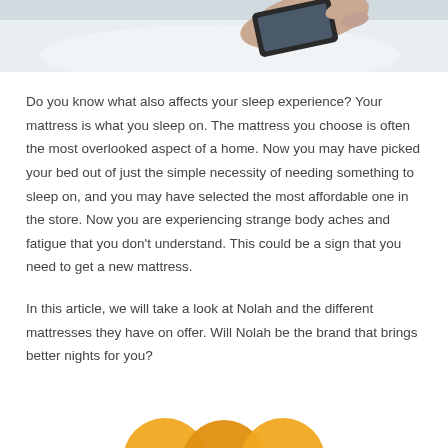[Figure (photo): Partial photo of a person holding a smartphone while lying in bed, visible at top of page]
Do you know what also affects your sleep experience? Your mattress is what you sleep on. The mattress you choose is often the most overlooked aspect of a home. Now you may have picked your bed out of just the simple necessity of needing something to sleep on, and you may have selected the most affordable one in the store. Now you are experiencing strange body aches and fatigue that you don't understand. This could be a sign that you need to get a new mattress.
In this article, we will take a look at Nolah and the different mattresses they have on offer. Will Nolah be the brand that brings better nights for you?
[Figure (illustration): Partial view of decorative orange/gold icons or logos at the very bottom of the page]